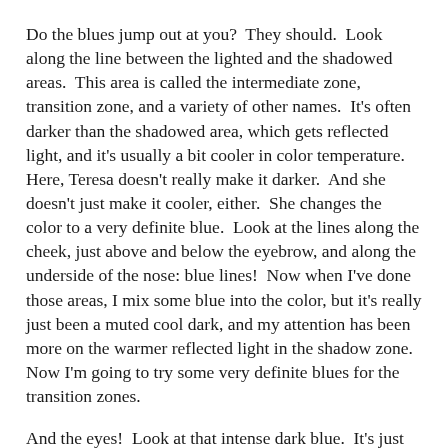Do the blues jump out at you?  They should.  Look along the line between the lighted and the shadowed areas.  This area is called the intermediate zone, transition zone, and a variety of other names.  It's often darker than the shadowed area, which gets reflected light, and it's usually a bit cooler in color temperature.  Here, Teresa doesn't really make it darker.  And she doesn't just make it cooler, either.  She changes the color to a very definite blue.  Look at the lines along the cheek, just above and below the eyebrow, and along the underside of the nose: blue lines!  Now when I've done those areas, I mix some blue into the color, but it's really just been a muted cool dark, and my attention has been more on the warmer reflected light in the shadow zone.  Now I'm going to try some very definite blues for the transition zones.
And the eyes!  Look at that intense dark blue.  It's just as dark as the rest of the eye (which is disturbingly red over to the shadowed side), but the blue just reaches out and smacks you.  That's confidence in your colors.
There are subtle color shifts all over.  The skin color bounces